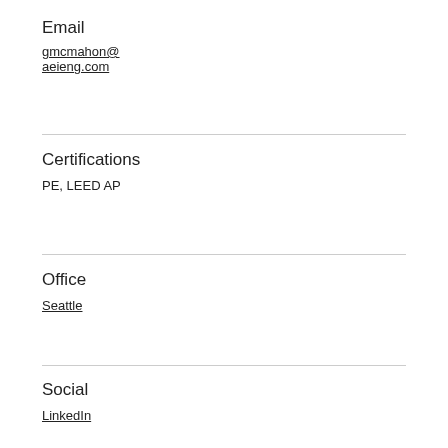Email
gmcmahon@aeieng.com
Certifications
PE, LEED AP
Office
Seattle
Social
LinkedIn